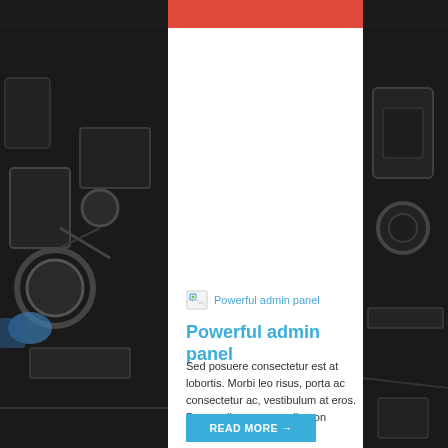[Figure (photo): Dark background photo of a car engine, visible on left and right sides of the page]
[Figure (illustration): Small broken image icon with link text 'Powerful admin panel']
Powerful admin panel
Sed posuere consectetur est at lobortis. Morbi leo risus, porta ac consectetur ac, vestibulum at eros. Donec ullamcorper nulla non metus auctor fringilla.
READ MORE →